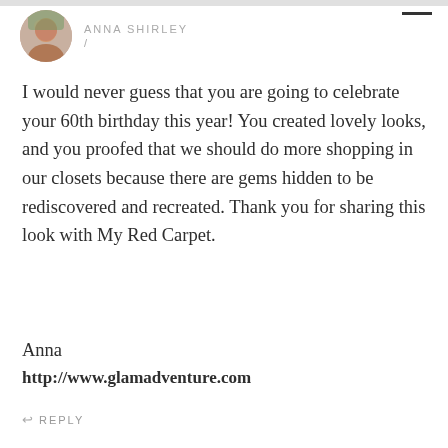ANNA SHIRLEY
I would never guess that you are going to celebrate your 60th birthday this year! You created lovely looks, and you proofed that we should do more shopping in our closets because there are gems hidden to be rediscovered and recreated. Thank you for sharing this look with My Red Carpet.

Anna
http://www.glamadventure.com
↩ REPLY